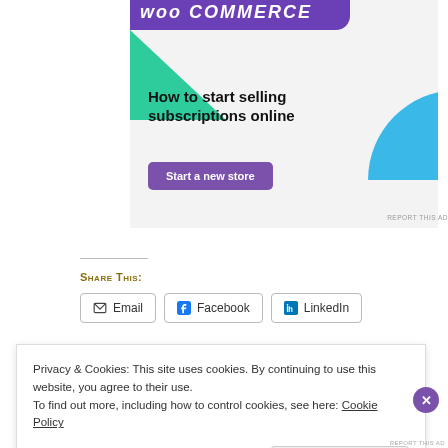[Figure (illustration): WooCommerce advertisement banner with purple header, green triangle shape, blue circle shape, bold headline 'How to start selling subscriptions online', and purple 'Start a new store' button on light grey background]
REPORT THIS AD
Share This:
Email  Facebook  LinkedIn
Privacy & Cookies: This site uses cookies. By continuing to use this website, you agree to their use.
To find out more, including how to control cookies, see here: Cookie Policy
Close and accept